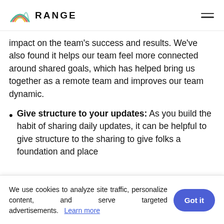RANGE
impact on the team's success and results. We've also found it helps our team feel more connected around shared goals, which has helped bring us together as a remote team and improves our team dynamic.
Give structure to your updates: As you build the habit of sharing daily updates, it can be helpful to give structure to the sharing to give folks a foundation and place
We use cookies to analyze site traffic, personalize content, and serve targeted advertisements.   Learn more